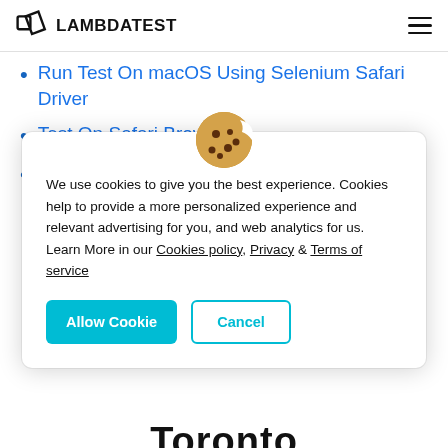LAMBDATEST
Run Test On macOS Using Selenium Safari Driver
Test On Safari Browser
Safari browser for windows
We use cookies to give you the best experience. Cookies help to provide a more personalized experience and relevant advertising for you, and web analytics for us. Learn More in our Cookies policy, Privacy & Terms of service
Toronto